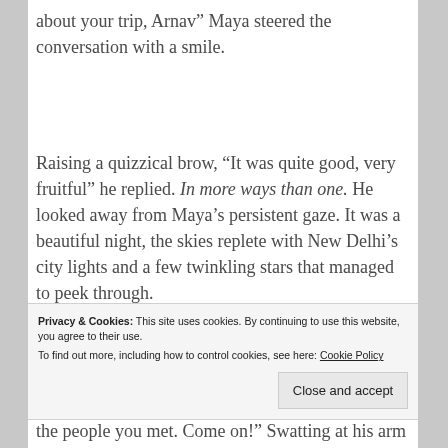about your trip, Arnav” Maya steered the conversation with a smile.
Raising a quizzical brow, “It was quite good, very fruitful” he replied. In more ways than one. He looked away from Maya’s persistent gaze. It was a beautiful night, the skies replete with New Delhi’s city lights and a few twinkling stars that managed to peek through.
Privacy & Cookies: This site uses cookies. By continuing to use this website, you agree to their use.
To find out more, including how to control cookies, see here: Cookie Policy
the people you met. Come on!” Swatting at his arm